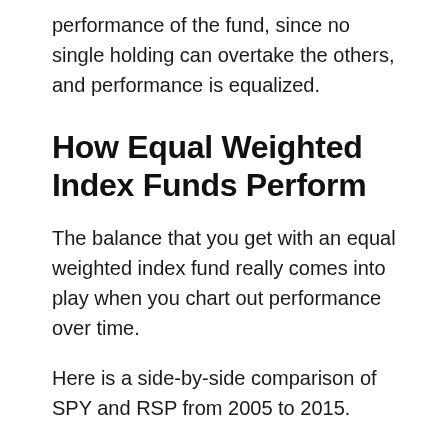performance of the fund, since no single holding can overtake the others, and performance is equalized.
How Equal Weighted Index Funds Perform
The balance that you get with an equal weighted index fund really comes into play when you chart out performance over time.
Here is a side-by-side comparison of SPY and RSP from 2005 to 2015.
The red line is RSP, the equal weighted portfolio, and the blue line is SPY, the standard capitalization